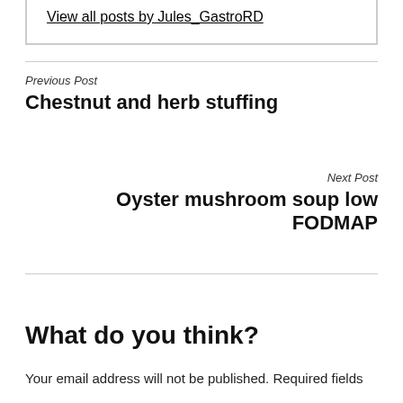country specific information.
View all posts by Jules_GastroRD
Previous Post
Chestnut and herb stuffing
Next Post
Oyster mushroom soup low FODMAP
What do you think?
Your email address will not be published. Required fields